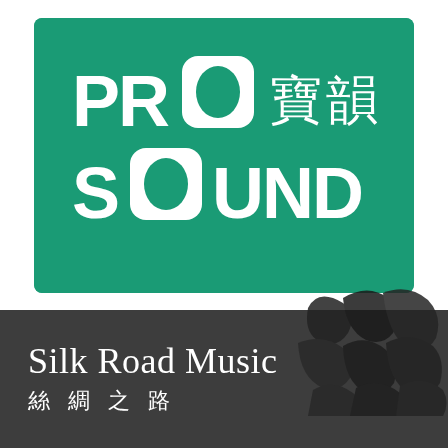[Figure (logo): ProSound logo — white text 'PRO SOUND' with '寶韻' Chinese characters on a teal/green background square, with stylized 'O' letters containing oval speaker shapes]
[Figure (logo): Silk Road Music / 絲綢之路 logo on dark gray background with calligraphic brush strokes on the right]